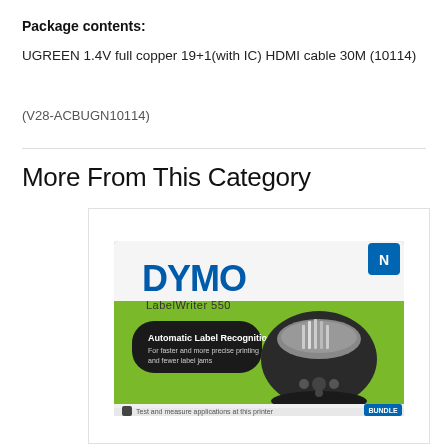Package contents:
UGREEN 1.4V full copper 19+1(with IC) HDMI cable 30M (10114)
(V28-ACBUGN10114)
More From This Category
[Figure (photo): Product photo of DYMO LabelWriter 550 in its retail box packaging, showing the printer and green/white box design]